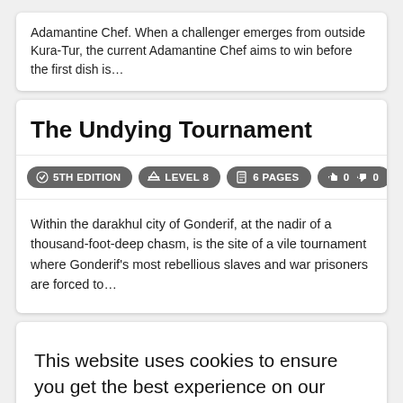Adamantine Chef. When a challenger emerges from outside Kura-Tur, the current Adamantine Chef aims to win before the first dish is…
The Undying Tournament
5TH EDITION  LEVEL 8  6 PAGES  0  0
Within the darakhul city of Gonderif, at the nadir of a thousand-foot-deep chasm, is the site of a vile tournament where Gonderif's most rebellious slaves and war prisoners are forced to…
This website uses cookies to ensure you get the best experience on our website.
Learn more
Got it!